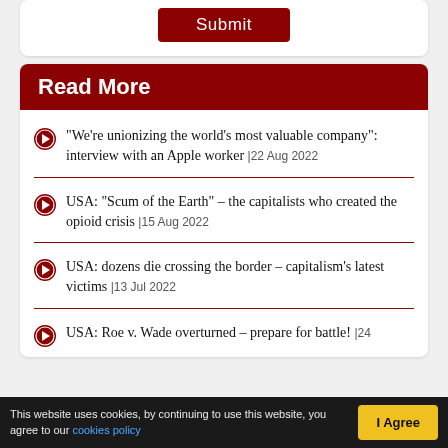Read More
“We’re unionizing the world’s most valuable company”: interview with an Apple worker | 22 Aug 2022
USA: “Scum of the Earth” – the capitalists who created the opioid crisis | 15 Aug 2022
USA: dozens die crossing the border – capitalism’s latest victims | 13 Jul 2022
USA: Roe v. Wade overturned – prepare for battle! | 24
This website uses cookies, by continuing to use this website, you agree to our cookies policy